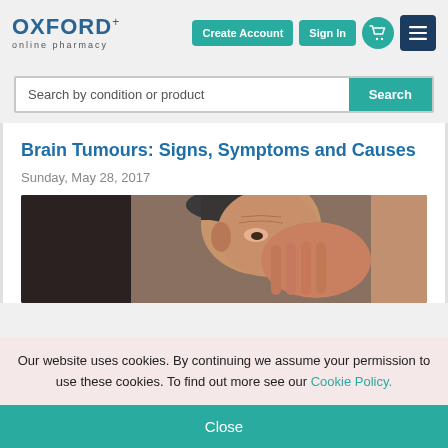OXFORD+ online pharmacy — Create Account | Sign In
Search by condition or product
Brain Tumours: Signs, Symptoms and Causes
Sunday, May 28, 2017
[Figure (photo): Elderly person with hand covering face, appearing to be in pain or distress]
Our website uses cookies. By continuing we assume your permission to use these cookies. To find out more see our Cookie Policy.
Close